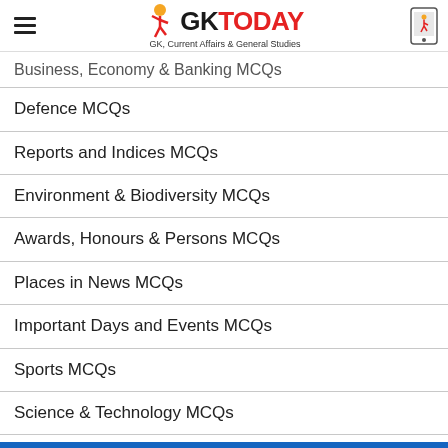GKToday - GK, Current Affairs & General Studies
Business, Economy & Banking MCQs
Defence MCQs
Reports and Indices MCQs
Environment & Biodiversity MCQs
Awards, Honours & Persons MCQs
Places in News MCQs
Important Days and Events MCQs
Sports MCQs
Science & Technology MCQs
Summits and Conferences in MCQs
International MCQs
Art & Culture MCQs